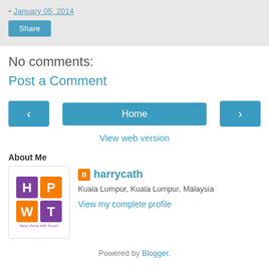- January 05, 2014
Share
No comments:
Post a Comment
< Home >
View web version
About Me
[Figure (logo): Have Perut Will Travel blog logo with HPWT letter tiles in colorful squares]
harrycath
Kuala Lumpur, Kuala Lumpur, Malaysia
View my complete profile
Powered by Blogger.